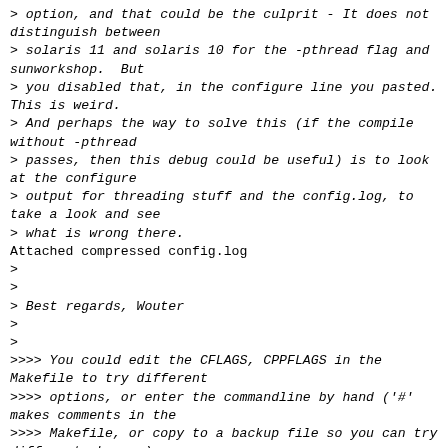> option, and that could be the culprit - It does not distinguish between
> solaris 11 and solaris 10 for the -pthread flag and sunworkshop.  But
> you disabled that, in the configure line you pasted. This is weird.
> And perhaps the way to solve this (if the compile without -pthread
> passes, then this debug could be useful) is to look at the configure
> output for threading stuff and the config.log, to take a look and see
> what is wrong there.
Attached compressed config.log
>
>
> Best regards, Wouter
>
>
>>>> You could edit the CFLAGS, CPPFLAGS in the Makefile to try different
>>>> options, or enter the commandline by hand ('#' makes comments in the
>>>> Makefile, or copy to a backup file so you can try different changes).
>>>> Try to remove the '-pthread', because there is an 'h' in that and
>>>> solaris has a different threading model (the '-mt' option enables the
>>>> solaris threading I believe).  Maybe the /usr/local/lib/libevent.so!